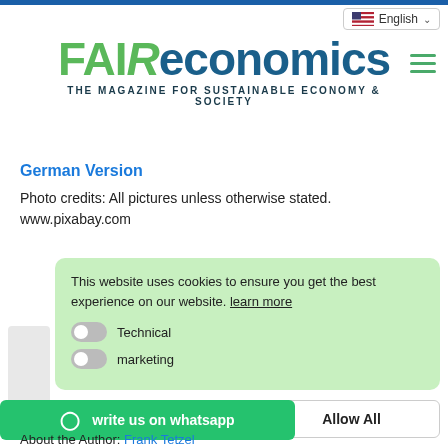FAIReconomics — THE MAGAZINE FOR SUSTAINABLE ECONOMY & SOCIETY
English (language selector)
FAIReconomics
THE MAGAZINE FOR SUSTAINABLE ECONOMY & SOCIETY
German Version
Photo credits: All pictures unless otherwise stated. www.pixabay.com
This website uses cookies to ensure you get the best experience on our website. learn more
Technical
marketing
Allow All
write us on whatsapp
About the Author: Frank Tetzel